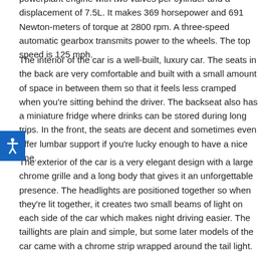powerplant engine with two valves per cylinder and a displacement of 7.5L. It makes 369 horsepower and 691 Newton-meters of torque at 2800 rpm. A three-speed automatic gearbox transmits power to the wheels. The top speed is 125 mph.
The interior of the car is a well-built, luxury car. The seats in the back are very comfortable and built with a small amount of space in between them so that it feels less cramped when you're sitting behind the driver. The backseat also has a miniature fridge where drinks can be stored during long trips. In the front, the seats are decent and sometimes even offer lumbar support if you're lucky enough to have a nice one.
The exterior of the car is a very elegant design with a large chrome grille and a long body that gives it an unforgettable presence. The headlights are positioned together so when they're lit together, it creates two small beams of light on each side of the car which makes night driving easier. The taillights are plain and simple, but some later models of the car came with a chrome strip wrapped around the tail light.